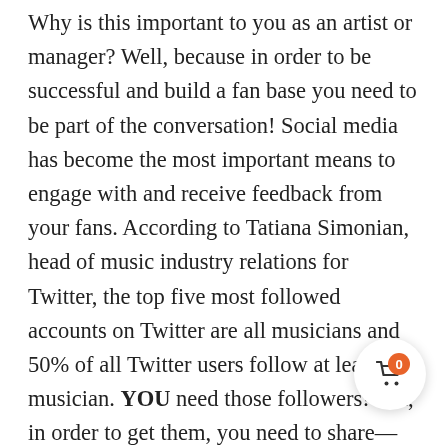Why is this important to you as an artist or manager? Well, because in order to be successful and build a fan base you need to be part of the conversation! Social media has become the most important means to engage with and receive feedback from your fans. According to Tatiana Simonian, head of music industry relations for Twitter, the top five most followed accounts on Twitter are all musicians and 50% of all Twitter users follow at least one musician. YOU need those followers! But, in order to get them, you need to share—your voice, your story and personal journey are as important to your fans as your music (or your films, books, etc.). It also